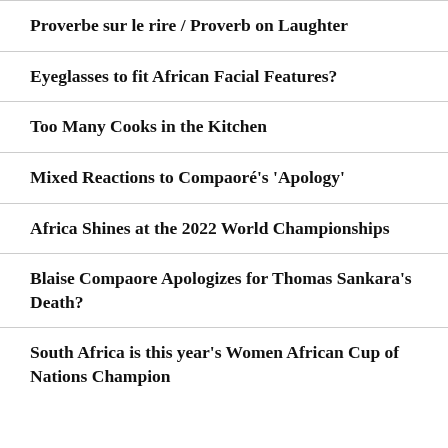Proverbe sur le rire / Proverb on Laughter
Eyeglasses to fit African Facial Features?
Too Many Cooks in the Kitchen
Mixed Reactions to Compaoré's 'Apology'
Africa Shines at the 2022 World Championships
Blaise Compaore Apologizes for Thomas Sankara's Death?
South Africa is this year's Women African Cup of Nations Champion